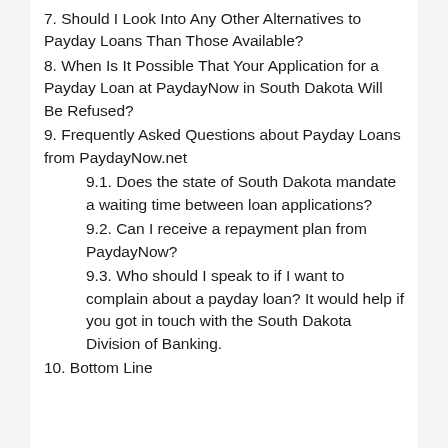7. Should I Look Into Any Other Alternatives to Payday Loans Than Those Available?
8. When Is It Possible That Your Application for a Payday Loan at PaydayNow in South Dakota Will Be Refused?
9. Frequently Asked Questions about Payday Loans from PaydayNow.net
9.1. Does the state of South Dakota mandate a waiting time between loan applications?
9.2. Can I receive a repayment plan from PaydayNow?
9.3. Who should I speak to if I want to complain about a payday loan? It would help if you got in touch with the South Dakota Division of Banking.
10. Bottom Line